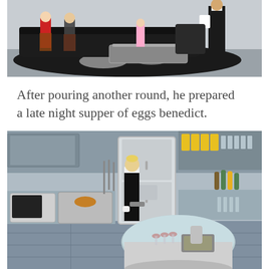[Figure (screenshot): The Sims 4 screenshot: living room scene with several Sim characters sitting on a dark sofa, wearing holiday/casual clothing including red and plaid pajamas, with a coffee table in front. A Sim in a black suit stands at right holding a white drink. Black and white cowhide rug on floor.]
After pouring another round, he prepared a late night supper of eggs benedict.
[Figure (screenshot): The Sims 4 screenshot: modern kitchen scene with a blonde Sim character in a black suit and white gloves cooking at the stove. Large silver refrigerator in center, round light-blue kitchen island with wine glasses. Shelves with bottles and cans in background.]